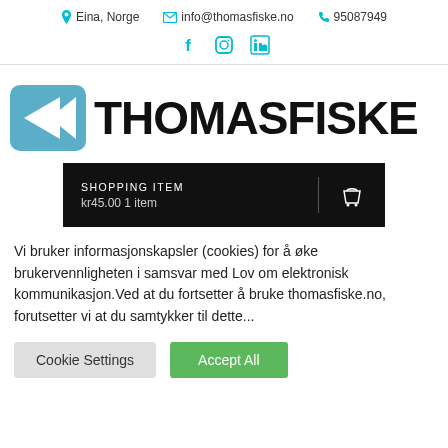Eina, Norge   info@thomasfiske.no   95087949
[Figure (logo): Social media icons: Facebook, Instagram, LinkedIn in teal/cyan color]
[Figure (logo): ThomasFiske logo with blue fish arrow icon and bold THOMASFISKE text]
SHOPPING ITEM kr45.00 1 item
Vi bruker informasjonskapsler (cookies) for å øke brukervennligheten i samsvar med Lov om elektronisk kommunikasjon.Ved at du fortsetter å bruke thomasfiske.no, forutsetter vi at du samtykker til dette...
Cookie Settings   Accept All